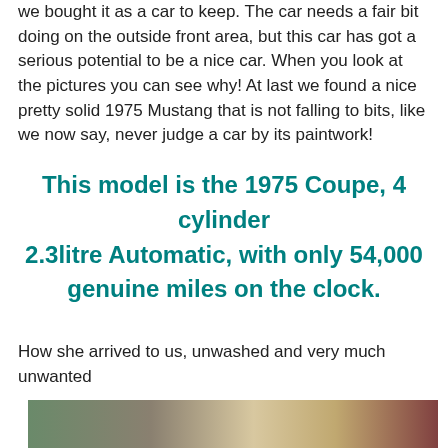we bought it as a car to keep. The car needs a fair bit doing on the outside front area, but this car has got a serious potential to be a nice car. When you look at the pictures you can see why! At last we found a nice pretty solid 1975 Mustang that is not falling to bits, like we now say, never judge a car by its paintwork!
This model is the 1975 Coupe, 4 cylinder 2.3litre Automatic, with only 54,000 genuine miles on the clock.
How she arrived to us, unwashed and very much unwanted
[Figure (photo): Photo of a 1975 Ford Mustang Coupe arriving, shown unwashed in a garage or yard setting, split into two side-by-side images.]